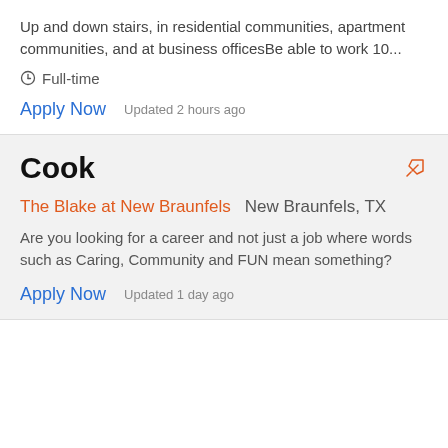Up and down stairs, in residential communities, apartment communities, and at business officesBe able to work 10...
Full-time
Apply Now   Updated 2 hours ago
Cook
The Blake at New Braunfels   New Braunfels, TX
Are you looking for a career and not just a job where words such as Caring, Community and FUN mean something?
Apply Now   Updated 1 day ago